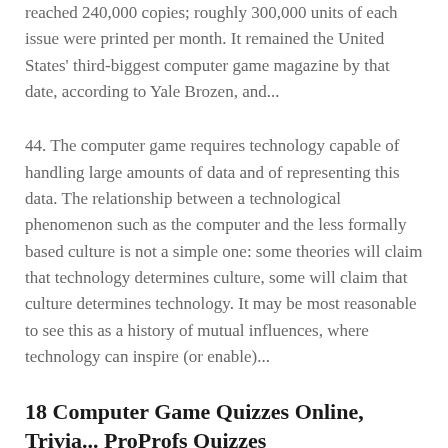reached 240,000 copies; roughly 300,000 units of each issue were printed per month. It remained the United States' third-biggest computer game magazine by that date, according to Yale Brozen, and...
44. The computer game requires technology capable of handling large amounts of data and of representing this data. The relationship between a technological phenomenon such as the computer and the less formally based culture is not a simple one: some theories will claim that technology determines culture, some will claim that culture determines technology. It may be most reasonable to see this as a history of mutual influences, where technology can inspire (or enable)...
18 Computer Game Quizzes Online, Trivia... ProProfs Quizzes